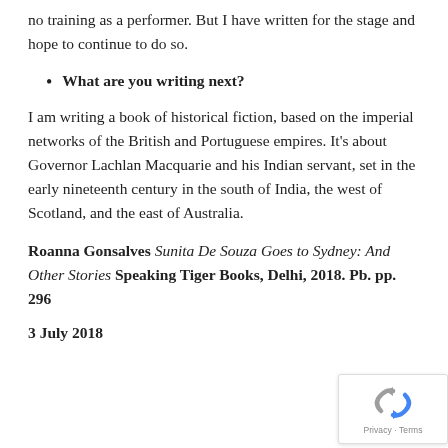no training as a performer. But I have written for the stage and hope to continue to do so.
What are you writing next?
I am writing a book of historical fiction, based on the imperial networks of the British and Portuguese empires. It’s about Governor Lachlan Macquarie and his Indian servant, set in the early nineteenth century in the south of India, the west of Scotland, and the east of Australia.
Roanna Gonsalves Sunita De Souza Goes to Sydney: And Other Stories Speaking Tiger Books, Delhi, 2018. Pb. pp. 296
3 July 2018